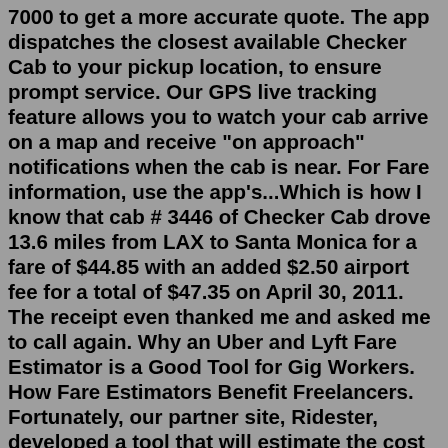7000 to get a more accurate quote. The app dispatches the closest available Checker Cab to your pickup location, to ensure prompt service. Our GPS live tracking feature allows you to watch your cab arrive on a map and receive "on approach" notifications when the cab is near. For Fare information, use the app's...Which is how I know that cab # 3446 of Checker Cab drove 13.6 miles from LAX to Santa Monica for a fare of $44.85 with an added $2.50 airport fee for a total of $47.35 on April 30, 2011. The receipt even thanked me and asked me to call again. Why an Uber and Lyft Fare Estimator is a Good Tool for Gig Workers. How Fare Estimators Benefit Freelancers. Fortunately, our partner site, Ridester, developed a tool that will estimate the cost of an Uber. You can use this from any computer on any browser.The restoration of the 1978 Checker Taxi Cab that was used in the Taxi TV Series. Restoration by Todd Harroun - Kalamazoo, MI. Here's a piece of Santa Fe history this little cab was in service from